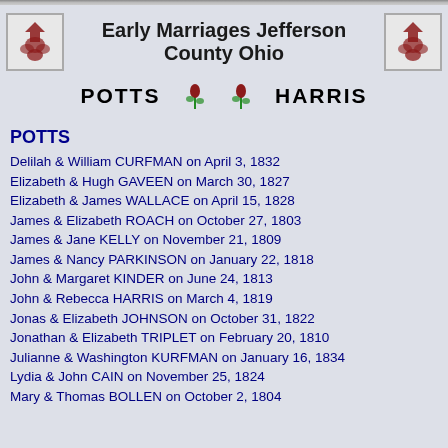Early Marriages Jefferson County Ohio
POTTS   HARRIS
POTTS
Delilah & William CURFMAN on April 3, 1832
Elizabeth & Hugh GAVEEN on March 30, 1827
Elizabeth & James WALLACE on April 15, 1828
James & Elizabeth ROACH on October 27, 1803
James & Jane KELLY on November 21, 1809
James & Nancy PARKINSON on January 22, 1818
John & Margaret KINDER on June 24, 1813
John & Rebecca HARRIS on March 4, 1819
Jonas & Elizabeth JOHNSON on October 31, 1822
Jonathan & Elizabeth TRIPLET on February 20, 1810
Julianne & Washington KURFMAN on January 16, 1834
Lydia & John CAIN on November 25, 1824
Mary & Thomas BOLLEN on October 2, 1804